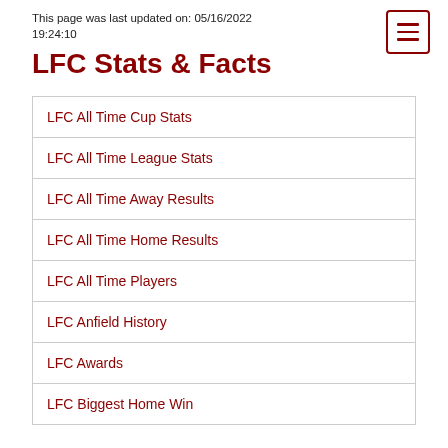This page was last updated on: 05/16/2022 19:24:10
LFC Stats & Facts
LFC All Time Cup Stats
LFC All Time League Stats
LFC All Time Away Results
LFC All Time Home Results
LFC All Time Players
LFC Anfield History
LFC Awards
LFC Biggest Home Win